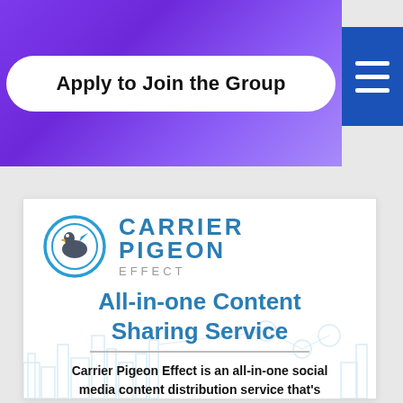[Figure (screenshot): Purple gradient banner with white pill-shaped button reading 'Apply to Join the Group' and blue hamburger menu button on the right]
[Figure (logo): Carrier Pigeon Effect logo with circular pigeon icon and bold blue text]
All-in-one Content Sharing Service
Carrier Pigeon Effect is an all-in-one social media content distribution service that's designed to save you time and money while growing your social following
[Figure (illustration): Light blue city skyline and social media icons illustration in background]
See if you qualify